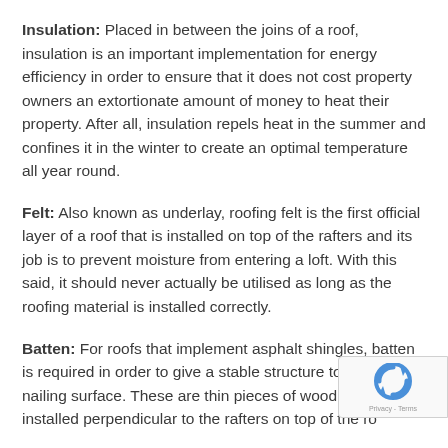Insulation: Placed in between the joins of a roof, insulation is an important implementation for energy efficiency in order to ensure that it does not cost property owners an extortionate amount of money to heat their property. After all, insulation repels heat in the summer and confines it in the winter to create an optimal temperature all year round.
Felt: Also known as underlay, roofing felt is the first official layer of a roof that is installed on top of the rafters and its job is to prevent moisture from entering a loft. With this said, it should never actually be utilised as long as the roofing material is installed correctly.
Batten: For roofs that implement asphalt shingles, batten is required in order to give a stable structure to serve as a nailing surface. These are thin pieces of wood that are installed perpendicular to the rafters on top of the ro...
[Figure (other): reCAPTCHA badge with logo and Privacy - Terms text]